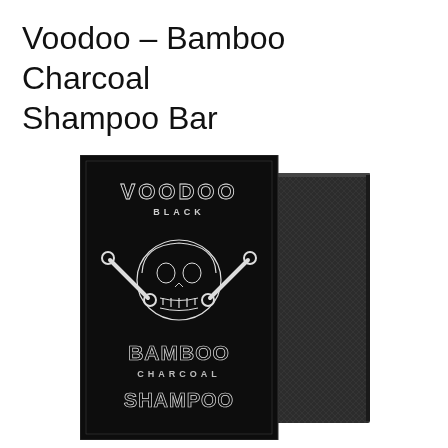Voodoo – Bamboo Charcoal Shampoo Bar
[Figure (photo): Product photo of Voodoo Black Bamboo Charcoal Shampoo Bar — a black rectangular bar of soap shown next to its black packaging. The packaging features decorative text reading VOODOO BLACK and BAMBOO CHARCOAL SHAMPOO with a Day of the Dead sugar skull and crossbones illustration in white.]